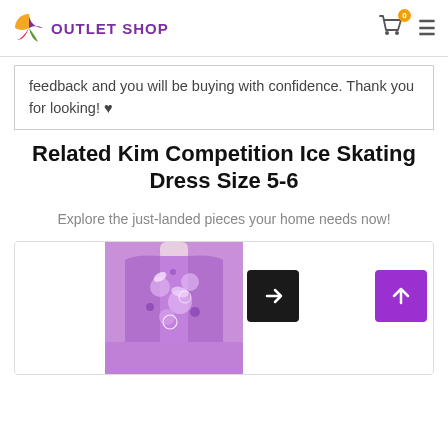OUTLET SHOP
feedback and you will be buying with confidence. Thank you for looking! ♥
Related Kim Competition Ice Skating Dress Size 5-6
Explore the just-landed pieces your home needs now!
[Figure (photo): Purple floral competition ice skating dress on a mannequin, with share and scroll-up buttons overlaid]